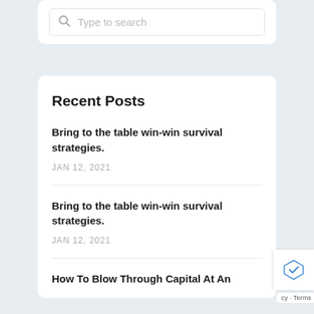[Figure (screenshot): Search box with magnifying glass icon and placeholder text 'Type to search']
Recent Posts
Bring to the table win-win survival strategies.
JAN 12, 2021
Bring to the table win-win survival strategies.
JAN 12, 2021
How To Blow Through Capital At An